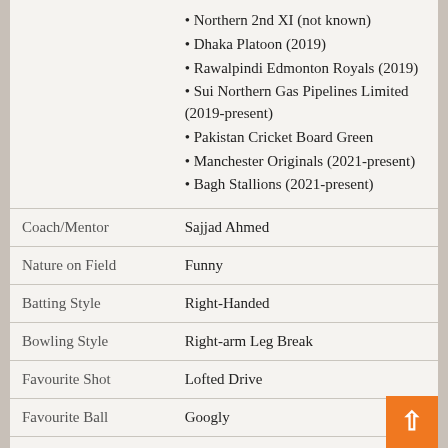| Field | Value |
| --- | --- |
|  | Northern 2nd XI (not known)
Dhaka Platoon (2019)
Rawalpindi Edmonton Royals (2019)
Sui Northern Gas Pipelines Limited (2019-present)
Pakistan Cricket Board Green
Manchester Originals (2021-present)
Bagh Stallions (2021-present) |
| Coach/Mentor | Sajjad Ahmed |
| Nature on Field | Funny |
| Batting Style | Right-Handed |
| Bowling Style | Right-arm Leg Break |
| Favourite Shot | Lofted Drive |
| Favourite Ball | Googly |